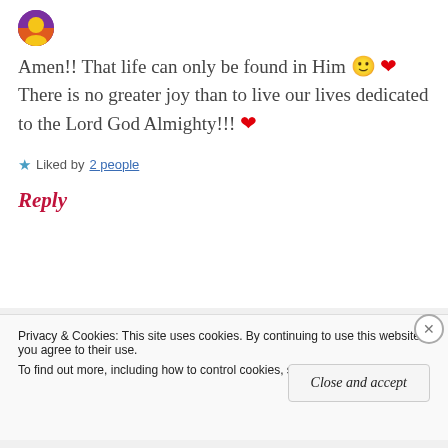[Figure (photo): User avatar thumbnail, purple/orange colored image]
Amen!! That life can only be found in Him 🙂 ❤ There is no greater joy than to live our lives dedicated to the Lord God Almighty!!! ❤
★ Liked by 2 people
Reply
Privacy & Cookies: This site uses cookies. By continuing to use this website, you agree to their use.
To find out more, including how to control cookies, see here: Cookie Policy
Close and accept